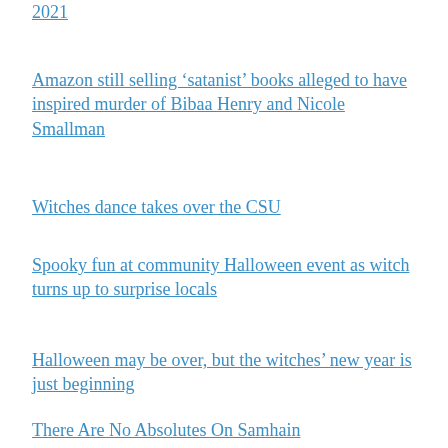2021
Amazon still selling ‘satanist’ books alleged to have inspired murder of Bibaa Henry and Nicole Smallman
Witches dance takes over the CSU
Spooky fun at community Halloween event as witch turns up to surprise locals
Halloween may be over, but the witches’ new year is just beginning
There Are No Absolutes On Samhain